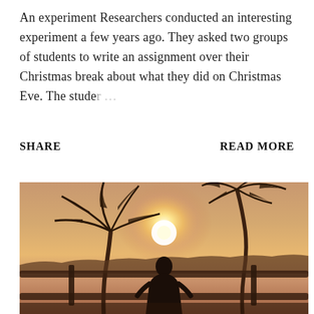An experiment Researchers conducted an interesting experiment a few years ago. They asked two groups of students to write an assignment over their Christmas break about what they did on Christmas Eve. The stude… ...
SHARE
READ MORE
[Figure (photo): A silhouette of a person standing in front of a wooden fence with palm trees and a bright sunset in the background, creating a warm golden-orange backlit atmosphere.]